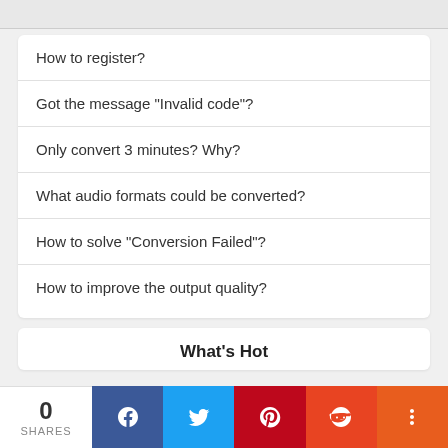How to register?
Got the message "Invalid code"?
Only convert 3 minutes? Why?
What audio formats could be converted?
How to solve "Conversion Failed"?
How to improve the output quality?
What's Hot
0 SHARES